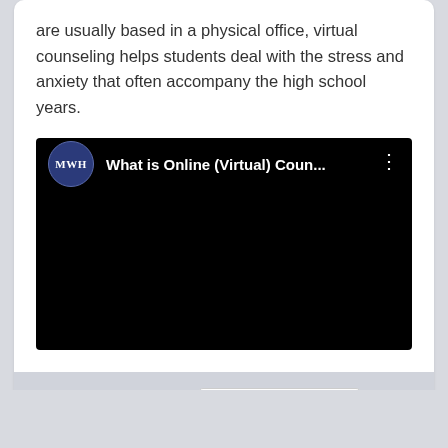are usually based in a physical office, virtual counseling helps students deal with the stress and anxiety that often accompany the high school years.
[Figure (screenshot): Embedded YouTube-style video player with black background. Shows channel logo (MWH initials in dark blue circle) and video title 'What is Online (Virtual) Coun...' with a vertical three-dot menu icon on the right.]
May 5, 2022 by admin   Health and Counseling